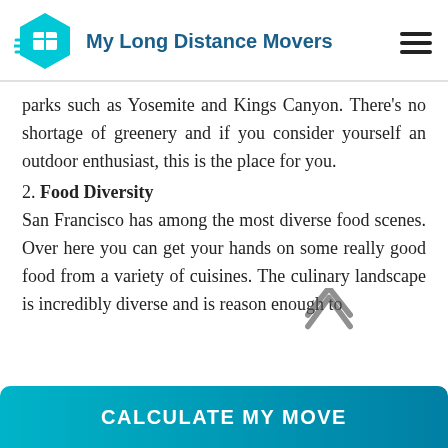My Long Distance Movers
parks such as Yosemite and Kings Canyon. There's no shortage of greenery and if you consider yourself an outdoor enthusiast, this is the place for you.
2. Food Diversity
San Francisco has among the most diverse food scenes. Over here you can get your hands on some really good food from a variety of cuisines. The culinary landscape is incredibly diverse and is reason enough to